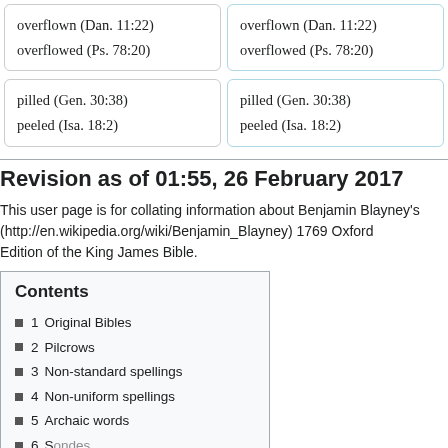overflown (Dan. 11:22)
overflowed (Ps. 78:20)
overflown (Dan. 11:22)
overflowed (Ps. 78:20)
pilled (Gen. 30:38)
peeled (Isa. 18:2)
pilled (Gen. 30:38)
peeled (Isa. 18:2)
Revision as of 01:55, 26 February 2017
This user page is for collating information about Benjamin Blayney's (http://en.wikipedia.org/wiki/Benjamin_Blayney) 1769 Oxford Edition of the King James Bible.
Contents
1  Original Bibles
2  Pilcrows
3  Non-standard spellings
4  Non-uniform spellings
5  Archaic words
6  Sondes